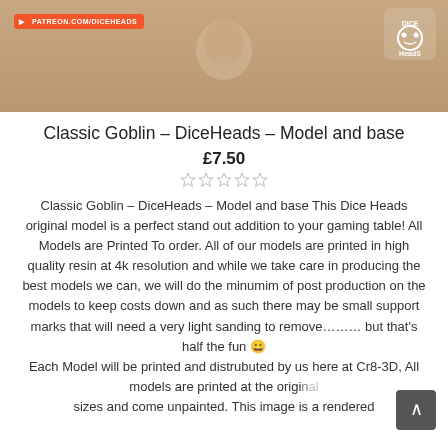[Figure (photo): Product image showing a goblin miniature model with a beige/tan background. Patreon badge (PATREON.COM/DICEHEADS) visible in top-left, DiceHeads logo in top-right.]
Classic Goblin – DiceHeads – Model and base
£7.50
Classic Goblin – DiceHeads – Model and base This Dice Heads original model is a perfect stand out addition to your gaming table! All Models are Printed To order. All of our models are printed in high quality resin at 4k resolution and while we take care in producing the best models we can, we will do the minumim of post production on the models to keep costs down and as such there may be small support marks that will need a very light sanding to remove……… but that's half the fun 😀
Each Model will be printed and distrubuted by us here at Cr8-3D, All models are printed at the original sizes and come unpainted. This image is a rendered